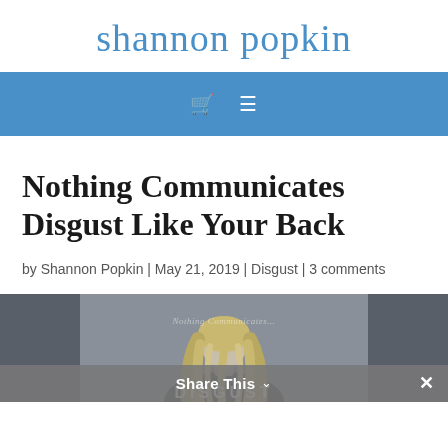shannon popkin
[Figure (screenshot): Blue navigation bar with shopping cart icon and hamburger menu icon in white on blue background]
Nothing Communicates Disgust Like Your Back
by Shannon Popkin | May 21, 2019 | Disgust | 3 comments
[Figure (photo): Black and white photo of a person with long blonde hair seen from behind, with text overlay reading 'Nothing Communicates...' and 'DISGUST' at the bottom. A 'Share This' bar appears at the bottom of the image with a close button.]